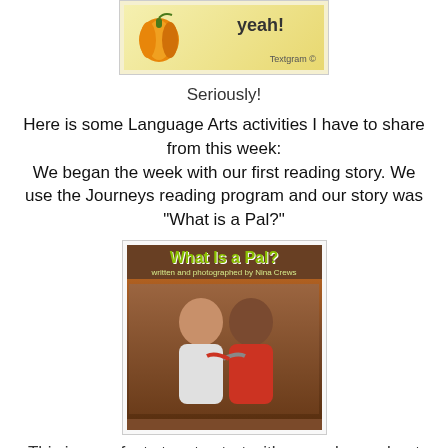[Figure (photo): Textgram image with yellow/orange pumpkin and text reading 'yeah!' with Textgram copyright notice]
Seriously!
Here is some Language Arts activities I have to share from this week:
We began the week with our first reading story. We use the Journeys reading program and our story was "What is a Pal?"
[Figure (photo): Book cover for 'What Is a Pal?' written and photographed by Nina Crews, showing two young boys with arms around each other in front of a wooden fence]
This is a perfect story to start with as we learn about friendship, citizenship and school rules.
[Figure (photo): Green-background classroom worksheet cards reading 'How to be a Pal' and 'I can be a Pal']